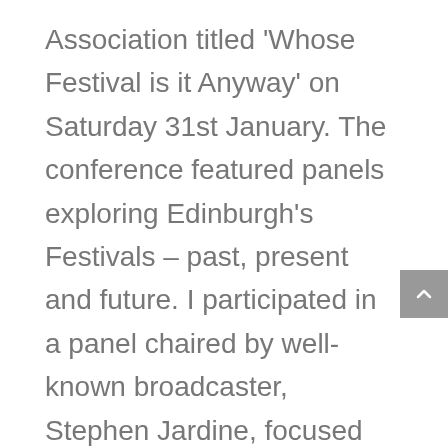Association titled 'Whose Festival is it Anyway' on Saturday 31st January. The conference featured panels exploring Edinburgh's Festivals – past, present and future. I participated in a panel chaired by well-known broadcaster, Stephen Jardine, focused on Cultural Tourism and the Festivals: What will be the 'new normal'? The panel discussion can be accessed on the Cockburn Association's YouTube channel. This conference built on a large public meeting